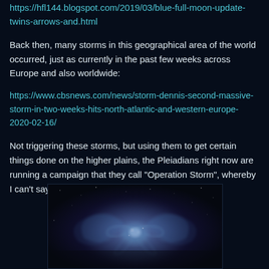https://hfl144.blogspot.com/2019/03/blue-full-moon-update-twins-arrows-and.html
Back then, many storms in this geographical area of the world occurred, just as currently in the past few weeks across Europe and also worldwide:
https://www.cbsnews.com/news/storm-dennis-second-massive-storm-in-two-weeks-hits-north-atlantic-and-western-europe-2020-02-16/
Not triggering these storms, but using them to get certain things done on the higher plains, the Pleiadians right now are running a campaign that they call "Operation Storm", whereby I can't say more about that right now.
[Figure (photo): Nebula or cosmic smoke-like imagery with blue and purple glowing swirls on a dark background, possibly depicting a cosmic or spiritual scene.]